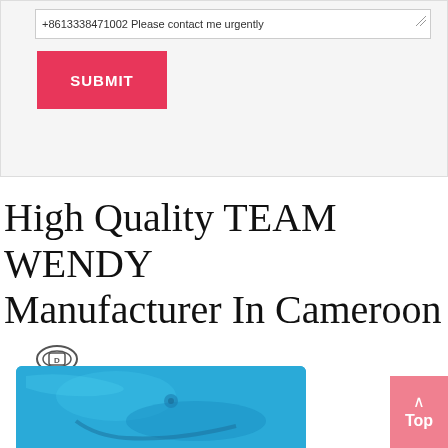+8613338471002 Please contact me urgently
SUBMIT
High Quality TEAM WENDY Manufacturer In Cameroon
[Figure (logo): DEEKON logo with circular emblem and red text]
[Figure (photo): Blue textured product (helmet/gear) - Team Wendy manufacturer product photo]
Top